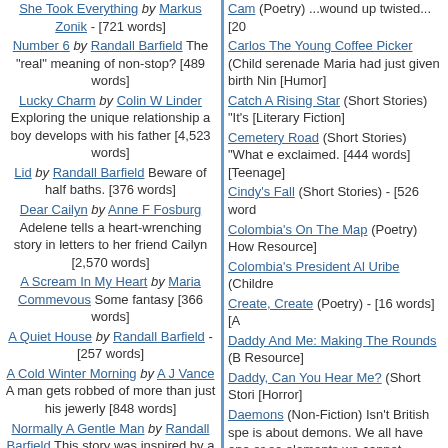She Took Everything by Markus Zonik - [721 words] Number 6 by Randall Barfield The "real" meaning of non-stop? [489 words] Lucky Charm by Colin W Linder Exploring the unique relationship a boy develops with his father [4,523 words] Lid by Randall Barfield Beware of half baths. [376 words] Dear Cailyn by Anne F Fosburg Adelene tells a heart-wrenching story in letters to her friend Cailyn [2,570 words] A Scream In My Heart by Maria Commevous Some fantasy [366 words] A Quiet House by Randall Barfield - [257 words] A Cold Winter Morning by A J Vance A man gets robbed of more than just his jewerly [848 words] Normally A Gentle Man by Randall Barfield This story was inspired by a story in the "Chicken Soup" series that I never can forget. [334 words] Walden And David by Lenox
Cam (Poetry) ...wound up twisted... [20 Carlos The Young Coffee Picker (Child serenade Maria had just given birth Nin [Humor] Catch A Rising Star (Short Stories) "It's [Literary Fiction] Cemetery Road (Short Stories) "What e exclaimed. [444 words] [Teenage] Cindy's Fall (Short Stories) - [526 word Colombia's On The Map (Poetry) How Resource] Colombia's President Al Uribe (Childre Create, Create (Poetry) - [16 words] [A Daddy And Me: Making The Rounds (B Resource] Daddy, Can You Hear Me? (Short Stori [Horror] Daemons (Non-Fiction) Isn't British spe is about demons. We all have one or so elements we cannot control very easily. Daniel Coronell: Freedom Fighter (Chil than ever. [420 words] [Biography] Daring To Touch Saeed (Poetry) This p hard to write about. If you've seen the r spiritually or otherwise diseased, so, I t David's Letter--Bogota, Colombia (Non words] [Self-Help]